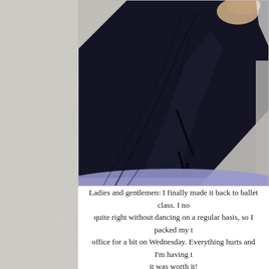[Figure (photo): Close-up photo of a person's legs wearing dark navy/black pants or leggings, raised up against a light gray wall. The bottom of the image shows a purple yoga mat or exercise mat arc.]
Ladies and gentlemen: I finally made it back to ballet class. I no quite right without dancing on a regular basis, so I packed my t office for a bit on Wednesday. Everything hurts and I'm having t it was worth it!